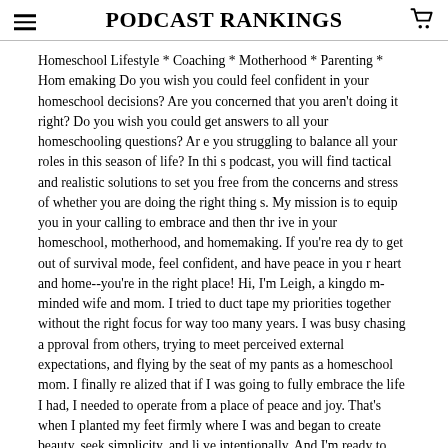PODCAST RANKINGS
Homeschool Lifestyle * Coaching * Motherhood * Parenting * Homemaking Do you wish you could feel confident in your homeschool decisions? Are you concerned that you aren't doing it right? Do you wish you could get answers to all your homeschooling questions? Are you struggling to balance all your roles in this season of life? In this podcast, you will find tactical and realistic solutions to set you free from the concerns and stress of whether you are doing the right things. My mission is to equip you in your calling to embrace and then thrive in your homeschool, motherhood, and homemaking. If you're ready to get out of survival mode, feel confident, and have peace in your heart and home--you're in the right place! Hi, I'm Leigh, a kingdom-minded wife and mom. I tried to duct tape my priorities together without the right focus for way too many years. I was busy chasing approval from others, trying to meet perceived external expectations, and flying by the seat of my pants as a homeschool mom. I finally realized that if I was going to fully embrace the life I had, I needed to operate from a place of peace and joy. That's when I planted my feet firmly where I was and began to create beauty, seek simplicity, and live intentionally. And I'm ready to share this with you! If you are ready to love your life as a homeschool mom and to know for certainty that you are doing the right thing for your children--this podcast is for you! Close up that lesson book, mama, let the kids go play, it's time for you to thrive! Connect. 📧 leigh@littlebylittlehomeschool.com C